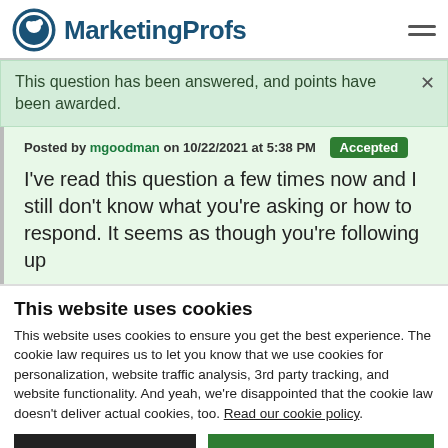MarketingProfs
This question has been answered, and points have been awarded.
Posted by mgoodman on 10/22/2021 at 5:38 PM  Accepted
I've read this question a few times now and I still don't know what you're asking or how to respond. It seems as though you're following up
This website uses cookies
This website uses cookies to ensure you get the best experience. The cookie law requires us to let you know that we use cookies for personalization, website traffic analysis, 3rd party tracking, and website functionality. And yeah, we're disappointed that the cookie law doesn't deliver actual cookies, too. Read our cookie policy.
Use necessary cookies only
Allow all cookies
Show details